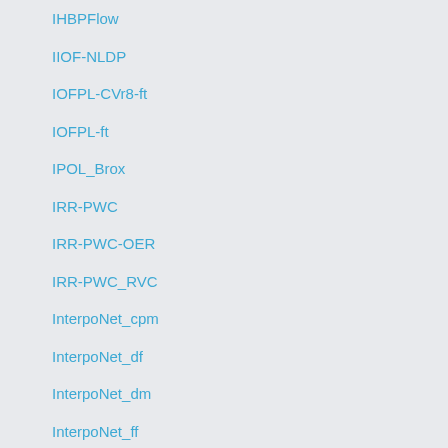IHBPFlow
IIOF-NLDP
IOFPL-CVr8-ft
IOFPL-ft
IPOL_Brox
IRR-PWC
IRR-PWC-OER
IRR-PWC_RVC
InterpoNet_cpm
InterpoNet_df
InterpoNet_dm
InterpoNet_ff
JOF
L0-norm-Flow2
L0-normFlow
L2L-Flow-ext
L2L-Flow-ext-warm
LCT-Flow
LCT-Flow2